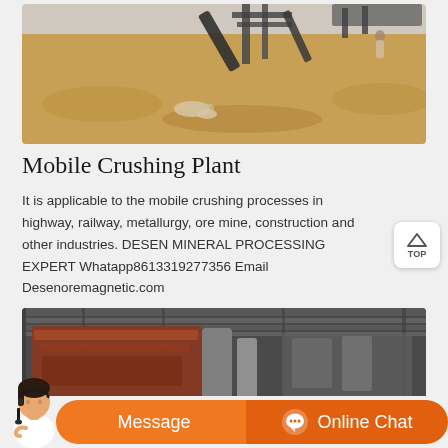[Figure (photo): Outdoor photo of a mobile crushing plant construction site with sandy/rocky ground, industrial equipment and conveyor structure in background under hazy sky]
Mobile Crushing Plant
It is applicable to the mobile crushing processes in highway, railway, metallurgy, ore mine, construction and other industries. DESEN MINERAL PROCESSING EXPERT Whatapp8613319277356 Email Desenoremagnetic.com
[Figure (photo): Indoor industrial photo showing heavy mining/crushing machinery and equipment with metal piping and conveyor structures under a metal roof]
Message
Online Chat